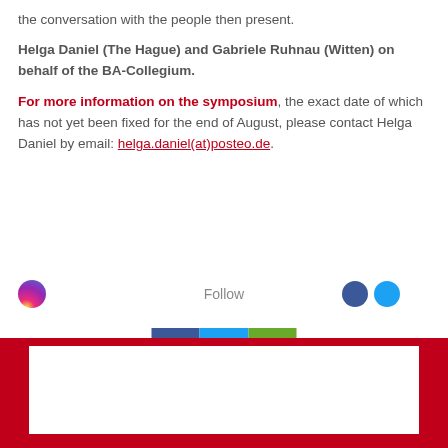the conversation with the people then present.
Helga Daniel (The Hague) and Gabriele Ruhnau (Witten) on behalf of the BA-Collegium.
For more information on the symposium, the exact date of which has not yet been fixed for the end of August, please contact Helga Daniel by email: helga.daniel(at)posteo.de.
[Figure (infographic): Social media icons and share buttons: Instagram gradient circle, Follow text, dark blue circle (Facebook), light blue circle (Twitter), and three colored share buttons (Facebook blue, Twitter light blue, LinkedIn green)]
[Figure (other): Red bordered white box section at bottom of page]